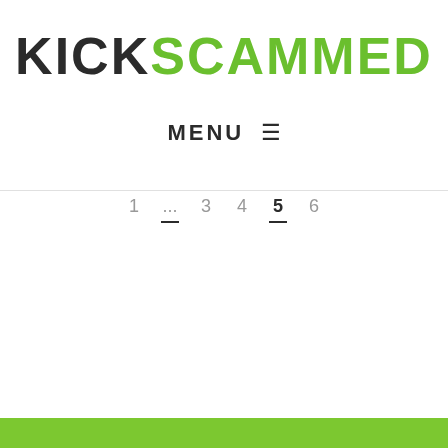KICKSCAMMED
MENU ≡
1 ... 3 4 5 6